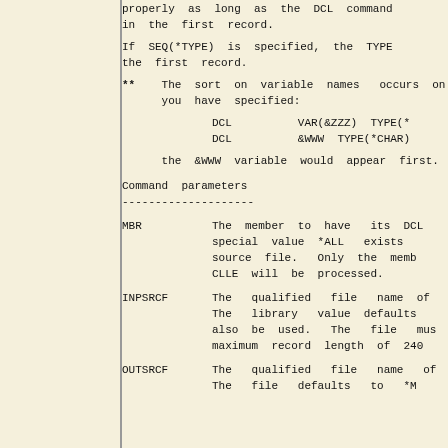properly as long as the DCL command in the first record.
If SEQ(*TYPE) is specified, the TYPE the first record.
**    The sort on variable names  occurs on you have specified:
DCL          VAR(&ZZZ) TYPE(*
    DCL          &WWW TYPE(*CHAR)
the &WWW variable would appear first.
Command parameters
------------------
MBR        The member to have its DCL special value *ALL exists source file. Only the memb CLLE will be processed.
INPSRCF    The qualified file name of The library value defaults also be used. The file mus maximum record length of 240
OUTSRCF    The qualified file name of The file defaults to *M